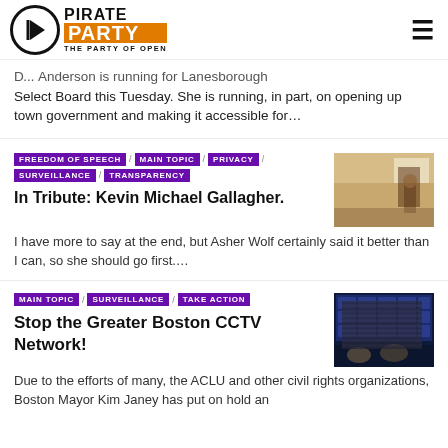PIRATE PARTY — THE PARTY OF OPEN
D... Anderson is running for Lanesborough Select Board this Tuesday. She is running, in part, on opening up town government and making it accessible for...
FREEDOM OF SPEECH / MAIN TOPIC / PRIVACY / SURVEILLANCE / TRANSPARENCY
In Tribute: Kevin Michael Gallagher.
[Figure (photo): Person sitting on a shelf or ledge in a room with large windows]
I have more to say at the end, but Asher Wolf certainly said it better than I can, so she should go first....
MAIN TOPIC / SURVEILLANCE / TAKE ACTION
Stop the Greater Boston CCTV Network!
[Figure (photo): People working at a security monitoring station with many CCTV screens]
Due to the efforts of many, the ACLU and other civil rights organizations, Boston Mayor Kim Janey has put on hold an...